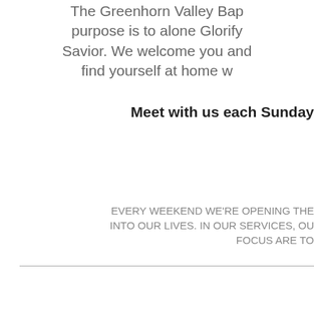The Greenhorn Valley Bap... purpose is to alone Glorify... Savior. We welcome you and... find yourself at home w...
Meet with us each Sunday...
EVERY WEEKEND WE'RE OPENING THE... INTO OUR LIVES. IN OUR SERVICES, OU... FOCUS ARE TO...